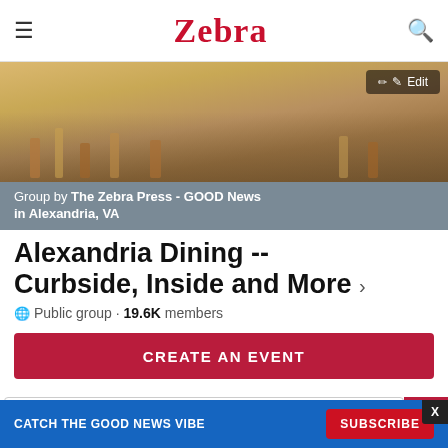☰  Zebra  🔍
[Figure (photo): Outdoor crowd/dining scene with people walking, Edit button overlay. Below: grey banner reading 'Group by The Zebra Press - GOOD News in Alexandria, VA']
Alexandria Dining -- Curbside, Inside and More
Public group · 19.6K members
CREATE AN EVENT
Search for events
CATCH THE GOOD NEWS VIBE  SUBSCRIBE  X